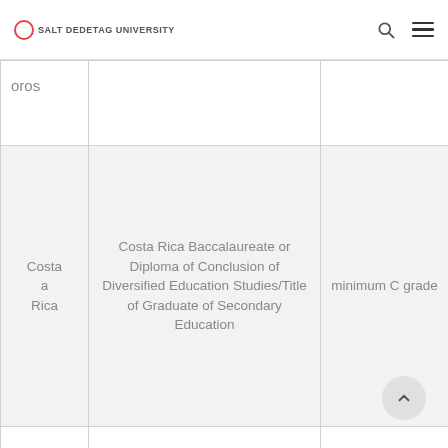Salt Dedetag University — navigation bar with search and menu icons
| Country | Qualification | Requirement |
| --- | --- | --- |
| oros |  |  |
| Costa Rica | Costa Rica Baccalaureate or Diploma of Conclusion of Diversified Education Studies/Title of Graduate of Secondary Education | minimum C grade |
| Croatia | Final Exam Certificate / High School Graduation Diploma / Matura | 44319 |